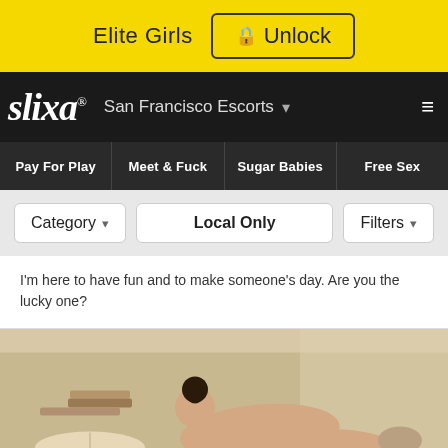Elite Girls  🔒 Unlock
slixa® San Francisco Escorts ☰
Pay For Play | Meet & Fuck | Sugar Babies | Free Sex
Category ▾   Local Only   Filters ▾
I'm here to have fun and to make someone's day. Are you the lucky one?
[Figure (photo): A person lying face-down on a bed with books and soft furnishings, partially unclothed, indoors with warm neutral tones.]